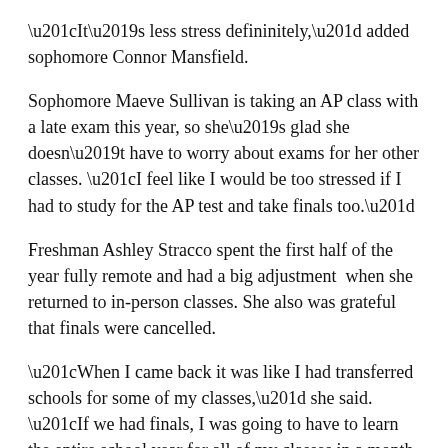“It’s less stress defininitely,” added sophomore Connor Mansfield.
Sophomore Maeve Sullivan is taking an AP class with a late exam this year, so she’s glad she doesn’t have to worry about exams for her other classes. “I feel like I would be too stressed if I had to study for the AP test and take finals too.”
Freshman Ashley Stracco spent the first half of the year fully remote and had a big adjustment when she returned to in-person classes. She also was grateful that finals were cancelled.
“When I came back it was like I had transferred schools for some of my classes,” she said. “If we had finals, I was going to have to learn the entire school year for all of my classes in a month. That would have been awful.”
McKenzie Bottomley, a junior, had been looking forward to a